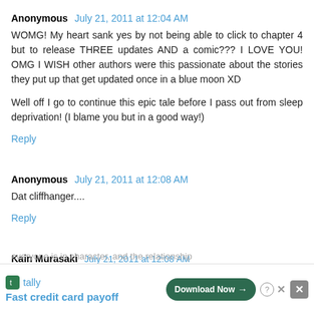Anonymous July 21, 2011 at 12:04 AM
WOMG! My heart sank yes by not being able to click to chapter 4 but to release THREE updates AND a comic??? I LOVE YOU! OMG I WISH other authors were this passionate about the stories they put up that get updated once in a blue moon XD

Well off I go to continue this epic tale before I pass out from sleep deprivation! (I blame you but in a good way!)
Reply
Anonymous July 21, 2011 at 12:08 AM
Dat cliffhanger....
Reply
Kain Murasaki July 21, 2011 at 12:08 AM
everyone is in character, and the relationship